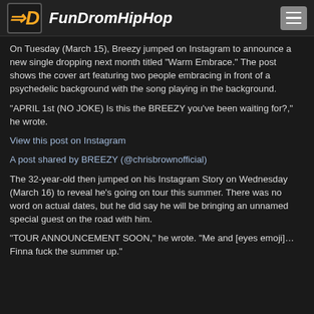FunDromHipHop
On Tuesday (March 15), Breezy jumped on Instagram to announce a new single dropping next month titled "Warm Embrace." The post shows the cover art featuring two people embracing in front of a psychedelic background with the song playing in the background.
"APRIL 1st (NO JOKE) Is this the BREEZY you've been waiting for?," he wrote.
View this post on Instagram
A post shared by BREEZY (@chrisbrownofficial)
The 32-year-old then jumped on his Instagram Story on Wednesday (March 16) to reveal he's going on tour this summer. There was no word on actual dates, but he did say he will be bringing an unnamed special guest on the road with him.
"TOUR ANNOUNCEMENT SOON," he wrote. "Me and [eyes emoji]… Finna fuck the summer up."